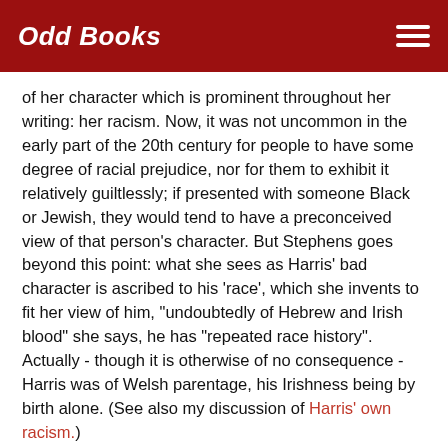Odd Books
of her character which is prominent throughout her writing: her racism. Now, it was not uncommon in the early part of the 20th century for people to have some degree of racial prejudice, nor for them to exhibit it relatively guiltlessly; if presented with someone Black or Jewish, they would tend to have a preconceived view of that person's character. But Stephens goes beyond this point: what she sees as Harris' bad character is ascribed to his 'race', which she invents to fit her view of him, "undoubtedly of Hebrew and Irish blood" she says, he has "repeated race history". Actually - though it is otherwise of no consequence - Harris was of Welsh parentage, his Irishness being by birth alone. (See also my discussion of Harris' own racism.)
Why Philippa Pullar chose not to mention Kate Stephens' racist hogwash is not clear, yet she did perform a